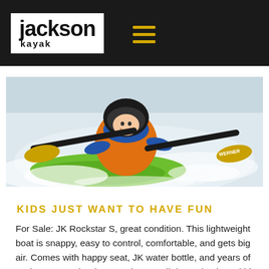Jackson Kayak
[Figure (photo): A young child in a helmet and orange life jacket paddling a green kayak through white water rapids, holding a Werner paddle, smiling.]
KIDS JUST WANT TO HAVE FUN
For Sale: JK Rockstar S, great condition. This lightweight boat is snappy, easy to control, comfortable, and gets big air. Comes with happy seat, JK water bottle, and years of excitement on the river. Having to sell due to having 4 kids and